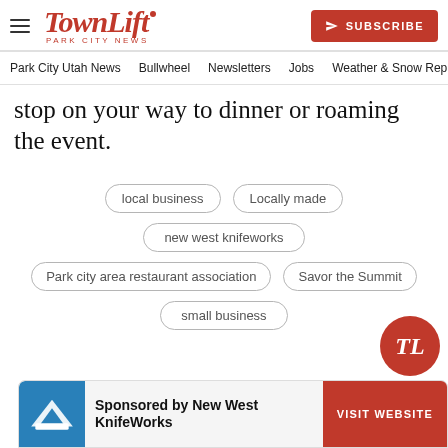TownLift — Park City News — SUBSCRIBE
Park City Utah News | Bullwheel | Newsletters | Jobs | Weather & Snow Rep
stop on your way to dinner or roaming the event.
local business
Locally made
new west knifeworks
Park city area restaurant association
Savor the Summit
small business
Sponsored by New West KnifeWorks
VISIT WEBSITE